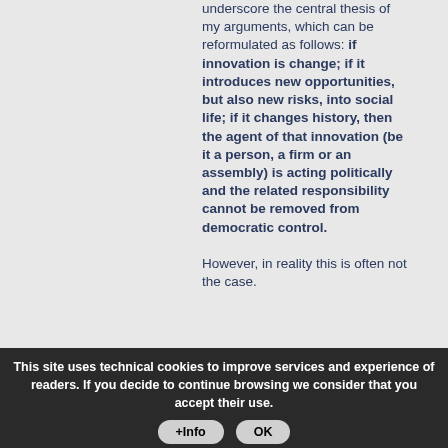underscore the central thesis of my arguments, which can be reformulated as follows: if innovation is change; if it introduces new opportunities, but also new risks, into social life; if it changes history, then the agent of that innovation (be it a person, a firm or an assembly) is acting politically and the related responsibility cannot be removed from democratic control.

However, in reality this is often not the case.
This site uses technical cookies to improve services and experience of readers. If you decide to continue browsing we consider that you accept their use.